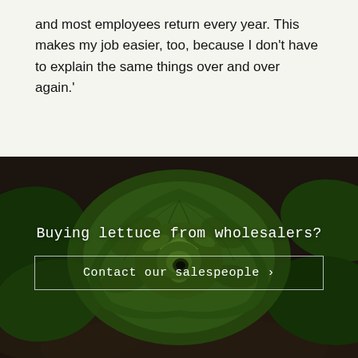and most employees return every year. This makes my job easier, too, because I don't have to explain the same things over and over again.'
[Figure (photo): Overhead close-up photograph of a green butterhead lettuce plant growing in dark soil, with overlaid text 'Buying lettuce from wholesalers?' and a button 'Contact our salespeople ›']
Buying lettuce from wholesalers?
Contact our salespeople ›